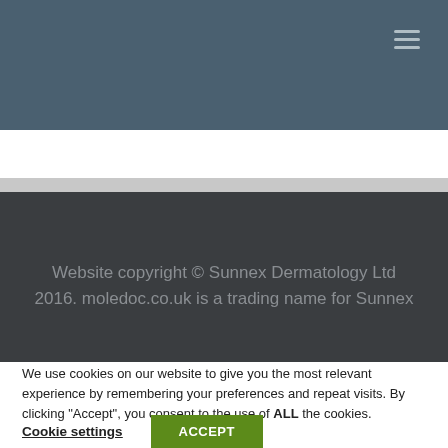Navigation menu (hamburger icon)
Website copyright © Sunnex Dermatology Ltd 2016. moledoc.co.uk is a trading name for Sunnex
We use cookies on our website to give you the most relevant experience by remembering your preferences and repeat visits. By clicking "Accept", you consent to the use of ALL the cookies.
Cookie settings  ACCEPT